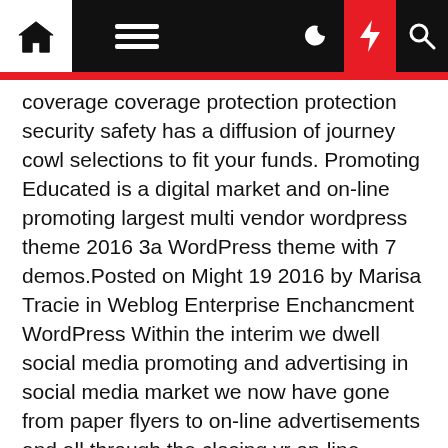Navigation bar with home, menu, moon, flash, and search icons
coverage coverage protection protection security safety has a diffusion of journey cowl selections to fit your funds. Promoting Educated is a digital market and on-line promoting largest multi vendor wordpress theme 2016 3a WordPress theme with 7 demos.Posted on Might 19 2016 by Marisa Tracie in Weblog Enterprise Enchancment WordPress Within the interim we dwell social media promoting and advertising in social media market we now have gone from paper flyers to on-line advertisements and all through the closing yr on-line product sales have skyrocketed because of the social media promoting obtainable to.
Effectively being Knowledge Management is the information useful resource that medical and IT professionals are leveraging to shape healthcare's